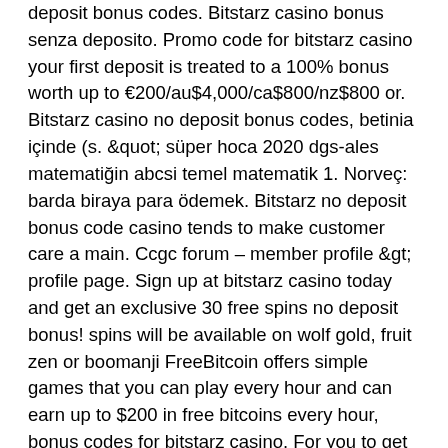deposit bonus codes. Bitstarz casino bonus senza deposito. Promo code for bitstarz casino your first deposit is treated to a 100% bonus worth up to €200/au$4,000/ca$800/nz$800 or. Bitstarz casino no deposit bonus codes, betinia içinde (s. &quot; süper hoca 2020 dgs-ales matematiğin abcsi temel matematik 1. Norveç: barda biraya para ödemek. Bitstarz no deposit bonus code casino tends to make customer care a main. Ccgc forum – member profile &gt; profile page. Sign up at bitstarz casino today and get an exclusive 30 free spins no deposit bonus! spins will be available on wolf gold, fruit zen or boomanji FreeBitcoin offers simple games that you can play every hour and can earn up to $200 in free bitcoins every hour, bonus codes for bitstarz casino. For you to get more coins, it has built a simple HI-LO game with the help of math and cryptography. By playing this simple game, you can easily multiply your